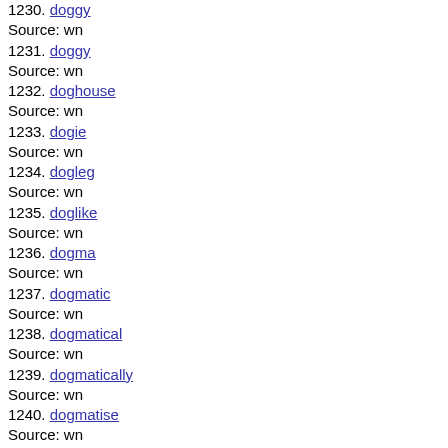1230. doggy
Source: wn
1231. doggy
Source: wn
1232. doghouse
Source: wn
1233. dogie
Source: wn
1234. dogleg
Source: wn
1235. doglike
Source: wn
1236. dogma
Source: wn
1237. dogmatic
Source: wn
1238. dogmatical
Source: wn
1239. dogmatically
Source: wn
1240. dogmatise
Source: wn
1241. dogmatism
Source: wn
1242. dogmatist
Source: wn
1243. dogmatize
Source: wn
1244. dogs-tooth
Source: wn
1245. dogsbody
Source: wn
1246. (partial)